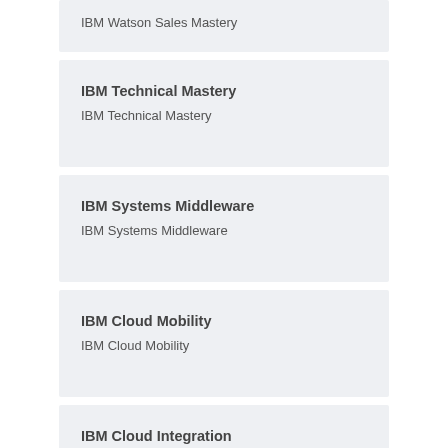IBM Watson Sales Mastery
IBM Technical Mastery
IBM Technical Mastery
IBM Systems Middleware
IBM Systems Middleware
IBM Cloud Mobility
IBM Cloud Mobility
IBM Cloud Integration
IBM Cloud Integration
IBM Analytics Solution